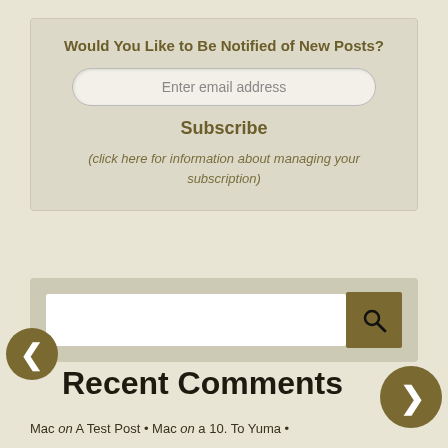Would You Like to Be Notified of New Posts?
Enter email address
Subscribe
(click here for information about managing your subscription)
[Figure (screenshot): Search bar with a white input field and a dark gold/brown search button with a magnifying glass icon]
Recent Comments
Mac on A Test Post • Mac on a 10. To Yuma •